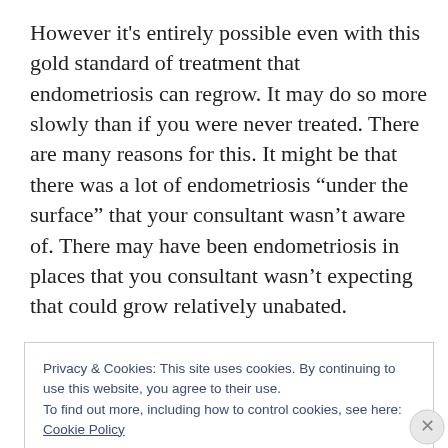However it's entirely possible even with this gold standard of treatment that endometriosis can regrow. It may do so more slowly than if you were never treated. There are many reasons for this. It might be that there was a lot of endometriosis “under the surface” that your consultant wasn’t aware of. There may have been endometriosis in places that you consultant wasn’t expecting that could grow relatively unabated.
You could have other pain conditions like adenomyosis,
Privacy & Cookies: This site uses cookies. By continuing to use this website, you agree to their use.
To find out more, including how to control cookies, see here: Cookie Policy